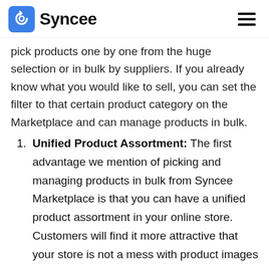Syncee
pick products one by one from the huge selection or in bulk by suppliers. If you already know what you would like to sell, you can set the filter to that certain product category on the Marketplace and can manage products in bulk.
Unified Product Assortment: The first advantage we mention of picking and managing products in bulk from Syncee Marketplace is that you can have a unified product assortment in your online store. Customers will find it more attractive that your store is not a mess with product images of twenty